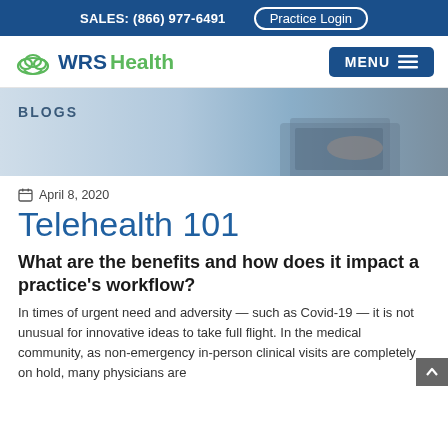SALES: (866) 977-6491   Practice Login
[Figure (logo): WRSHealth logo with cloud icon and green/blue text]
[Figure (photo): Blog banner with BLOGS label and photo of person typing on laptop]
April 8, 2020
Telehealth 101
What are the benefits and how does it impact a practice's workflow?
In times of urgent need and adversity — such as Covid-19 — it is not unusual for innovative ideas to take full flight. In the medical community, as non-emergency in-person clinical visits are completely on hold, many physicians are